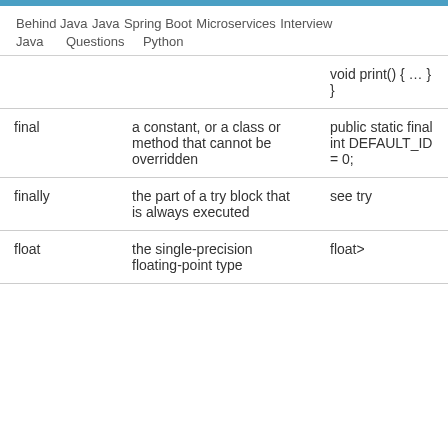Behind Java  Java Questions  Spring Boot Python  Microservices  Interview
| Keyword | Description | Example |
| --- | --- | --- |
|  |  | void print() { … } } |
| final | a constant, or a class or method that cannot be overridden | public static final int DEFAULT_ID = 0; |
| finally | the part of a try block that is always executed | see try |
| float | the single-precision floating-point type | float oneHalf = 0.5F; |